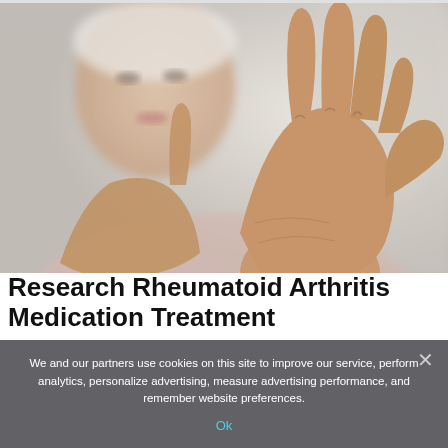[Figure (photo): Elderly woman holding up her hand toward the camera, rubbing/examining fingers, suggesting joint pain from rheumatoid arthritis. Background is blurred and light-colored.]
Research Rheumatoid Arthritis Medication Treatment
We and our partners use cookies on this site to improve our service, perform analytics, personalize advertising, measure advertising performance, and remember website preferences.
Ok